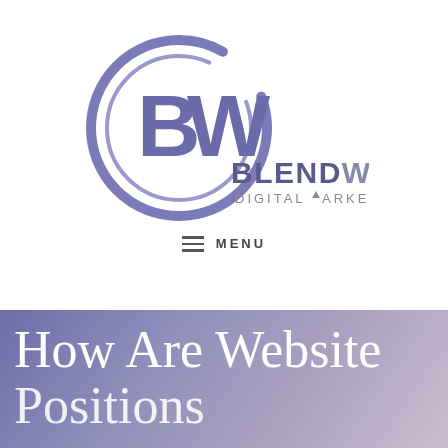[Figure (logo): BlendWorks Digital Marketing logo: a purple/slate circle arc with 'BW' letters inside, followed by 'BLENDWORKS' in bold dark purple and 'DIGITAL MARKETING' in smaller caps below]
≡  MENU
How Are Website Positions